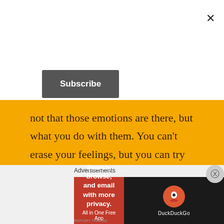[Figure (screenshot): Close X button in top right corner of modal]
[Figure (screenshot): Subscribe button, dark gray rounded rectangle]
not that those emotions are there, but what you do with them. You can't erase your feelings, but you can try to control yourself so they don't run other people over like some kind of freight train. Don't bite the hand that feeds you. Don't lash out at the people trying to help you. That won't help resolve the feelings and only leaves you feeling bad about yourself. That certainly won't help you heal any faster. Here is where therapy has come in very handy, at least for me. I highly recommend it and I
Advertisements
[Figure (screenshot): DuckDuckGo advertisement banner: 'Search, browse, and email with more privacy. All in One Free App' with DuckDuckGo logo on dark background]